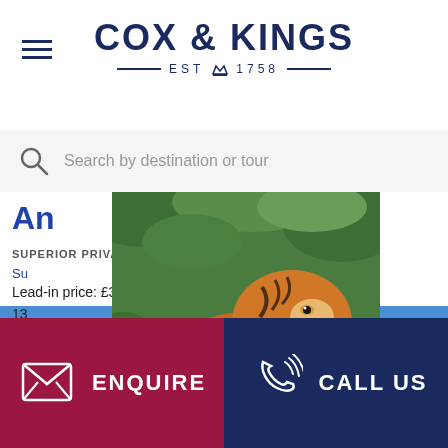COX & KINGS — EST 1758 —
Search by destination or tour
[Figure (photo): A Bengal tiger walking through green jungle foliage, seen in profile, with orange and black striped coat]
An...
SUPERIOR PRIVATE
Su...
Lead-in price: £3145 pp
13...
Th... India's national parks in ... its tigers, wild dogs, lea... rs walking safaris and nig... red Rudyard Kipling's...
ENQUIRE
CALL US